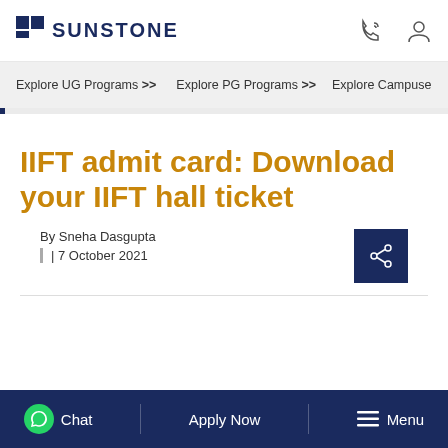SUNSTONE
Explore UG Programs >> Explore PG Programs >> Explore Campuse
IIFT admit card: Download your IIFT hall ticket
By Sneha Dasgupta
| 7 October 2021
Chat  Apply Now  Menu